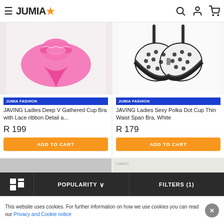JUMIA
[Figure (photo): Pink lingerie/thong underwear on white background]
JUMIA FASHION
JAVING Ladies Deep V Gathered Cup Bra with Lace ribbon Detail a...
R 199
ADD TO CART
[Figure (photo): White and black polka dot bra on white background]
JUMIA FASHION
JAVING Ladies Sexy Polka Dot Cup Thin Waist Span Bra, White
R 179
ADD TO CART
POPULARITY ∨   FILTERS (1)
This website uses cookies. For further information on how we use cookies you can read our Privacy and Cookie notice